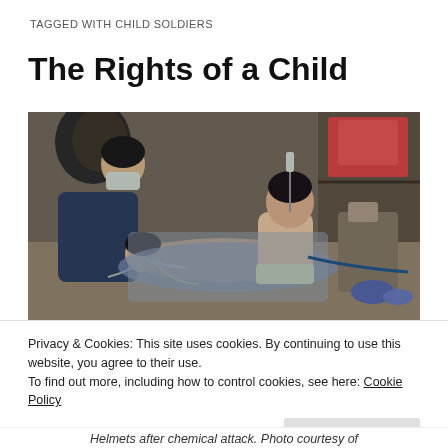TAGGED WITH CHILD SOLDIERS
The Rights of a Child
[Figure (photo): Photo showing children receiving medical treatment, one child lying with medical tubes, another sitting up, and a person wearing a medical mask attending to them. The setting appears to be an improvised medical facility.]
Privacy & Cookies: This site uses cookies. By continuing to use this website, you agree to their use.
To find out more, including how to control cookies, see here: Cookie Policy
Helmets after chemical attack. Photo courtesy of